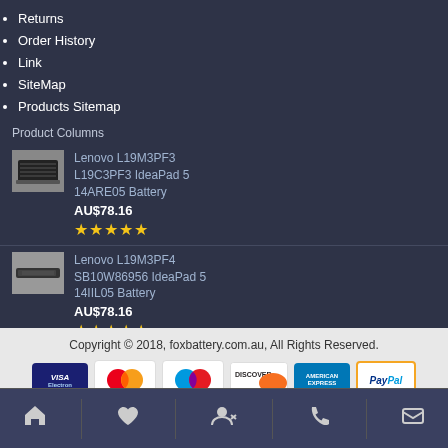Returns
Order History
Link
SiteMap
Products Sitemap
Product Columns
Lenovo L19M3PF3 L19C3PF3 IdeaPad 5 14ARE05 Battery AU$78.16 ★★★★★
Lenovo L19M3PF4 SB10W86956 IdeaPad 5 14IIL05 Battery AU$78.16 ★★★★★
Copyright © 2018, foxbattery.com.au, All Rights Reserved.